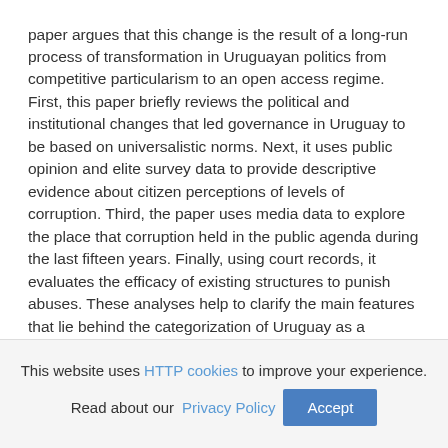paper argues that this change is the result of a long-run process of transformation in Uruguayan politics from competitive particularism to an open access regime. First, this paper briefly reviews the political and institutional changes that led governance in Uruguay to be based on universalistic norms. Next, it uses public opinion and elite survey data to provide descriptive evidence about citizen perceptions of levels of corruption. Third, the paper uses media data to explore the place that corruption held in the public agenda during the last fifteen years. Finally, using court records, it evaluates the efficacy of existing structures to punish abuses. These analyses help to clarify the main features that lie behind the categorization of Uruguay as a contemporary achiever in terms of government transparency.
This website uses HTTP cookies to improve your experience. Read about our Privacy Policy